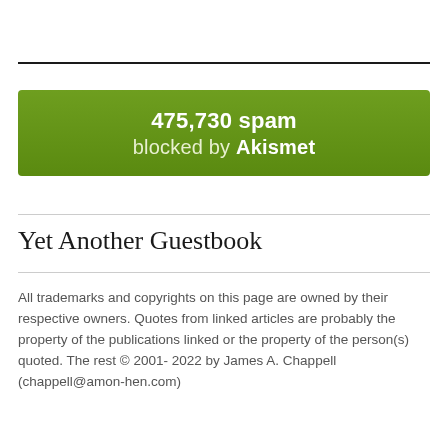[Figure (infographic): Green Akismet spam counter badge showing '475,730 spam blocked by Akismet']
Yet Another Guestbook
All trademarks and copyrights on this page are owned by their respective owners. Quotes from linked articles are probably the property of the publications linked or the property of the person(s) quoted. The rest © 2001- 2022 by James A. Chappell (chappell@amon-hen.com)